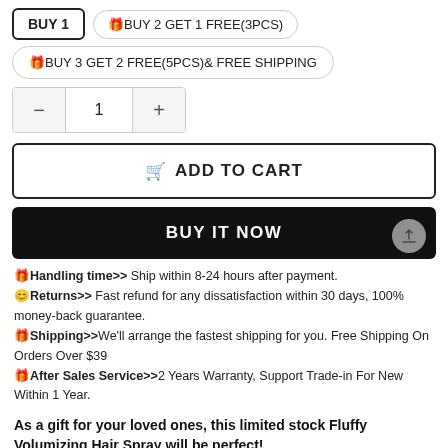BUY 1 | 🎁BUY 2 GET 1 FREE(3PCS)
🎁BUY 3 GET 2 FREE(5PCS)& FREE SHIPPING
Quantity: 1
ADD TO CART
BUY IT NOW
🎁Handling time>> Ship within 8-24 hours after payment. 😊Returns>> Fast refund for any dissatisfaction within 30 days, 100% money-back guarantee. 🎁Shipping>>We'll arrange the fastest shipping for you. Free Shipping On Orders Over $39 🎁After Sales Service>>2 Years Warranty, Support Trade-in For New Within 1 Year.
As a gift for your loved ones, this limited stock Fluffy Volumizing Hair Spray will be perfect!